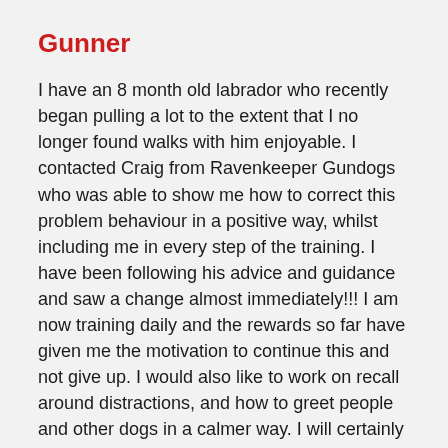Gunner
I have an 8 month old labrador who recently began pulling a lot to the extent that I no longer found walks with him enjoyable. I contacted Craig from Ravenkeeper Gundogs who was able to show me how to correct this problem behaviour in a positive way, whilst including me in every step of the training. I have been following his advice and guidance and saw a change almost immediately!!! I am now training daily and the rewards so far have given me the motivation to continue this and not give up. I would also like to work on recall around distractions, and how to greet people and other dogs in a calmer way. I will certainly be going back to Craig for help with this once we have mastered the art of heel! Thank you to